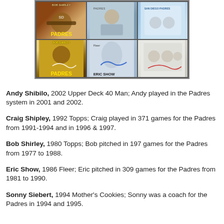[Figure (photo): A grid of six signed baseball cards arranged in 2 rows by 3 columns, including cards for Bob Shirley (1980 Topps), Eric Show (1986 Fleer), and others, all autographed.]
Andy Shibilo, 2002 Upper Deck 40 Man; Andy played in the Padres system in 2001 and 2002. Craig Shipley, 1992 Topps; Craig played in 371 games for the Padres from 1991-1994 and in 1996 & 1997. Bob Shirley, 1980 Topps; Bob pitched in 197 games for the Padres from 1977 to 1988. Eric Show, 1986 Fleer; Eric pitched in 309 games for the Padres from 1981 to 1990. Sonny Siebert, 1994 Mother's Cookies; Sonny was a coach for the Padres in 1994 and 1995.